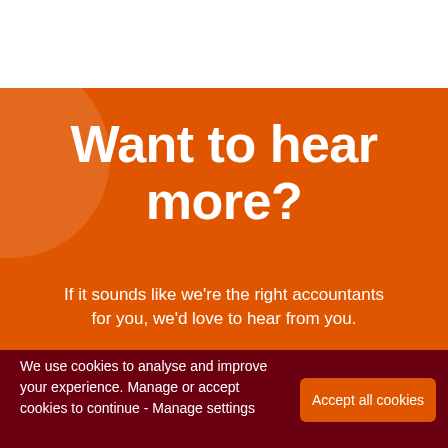Want to hear more?
If it sounds like we're the right accountants for you, we'd love to hear from you.
We use cookies to analyse and improve your experience. Manage or accept cookies to continue - Manage settings
Accept all cookies